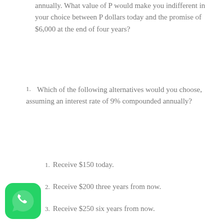annually. What value of P would make you indifferent in your choice between P dollars today and the promise of $6,000 at the end of four years?
1. Which of the following alternatives would you choose, assuming an interest rate of 9% compounded annually?
1. Receive $150 today.
2. Receive $200 three years from now.
3. Receive $250 six years from now.
[Figure (logo): WhatsApp logo - green rounded square with white phone handset icon]